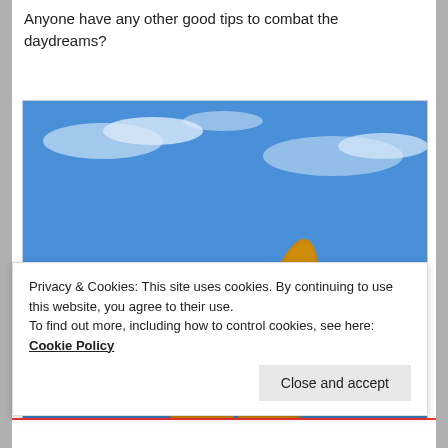Anyone have any other good tips to combat the daydreams?
[Figure (photo): A hand making a peace sign (V sign) with two fingers covered in orange/golden sand, photographed at a beach with blue sky and ocean in the background.]
Privacy & Cookies: This site uses cookies. By continuing to use this website, you agree to their use.
To find out more, including how to control cookies, see here: Cookie Policy
Close and accept